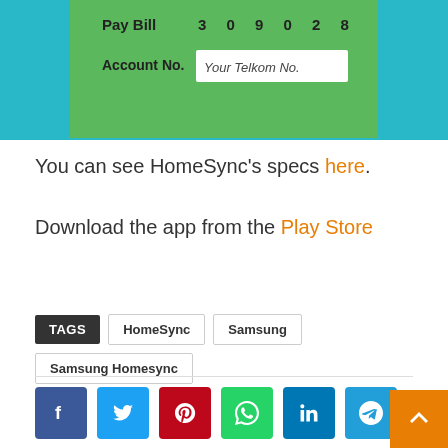[Figure (screenshot): Partial screenshot of a green-background payment card showing 'Pay Bill 3 0 9 0 2 8' and 'Account No. Your Telkom No.' with a teal border, cropped at top]
You can see HomeSync's specs here.
Download the app from the Play Store
TAGS  HomeSync  Samsung  Samsung Homesync
[Figure (infographic): Social share buttons: Facebook (dark blue), Twitter (light blue), Pinterest (red), WhatsApp (green), LinkedIn (dark blue), Telegram (blue)]